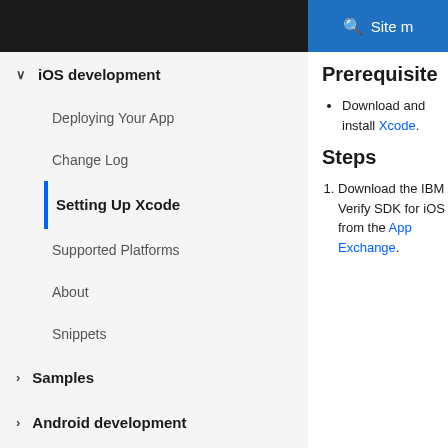Site m
iOS development
Deploying Your App
Change Log
Setting Up Xcode
Supported Platforms
About
Snippets
Samples
Android development
Prerequisites
Download and install Xcode.
Steps
Download the IBM Verify SDK for iOS from the App Exchange.